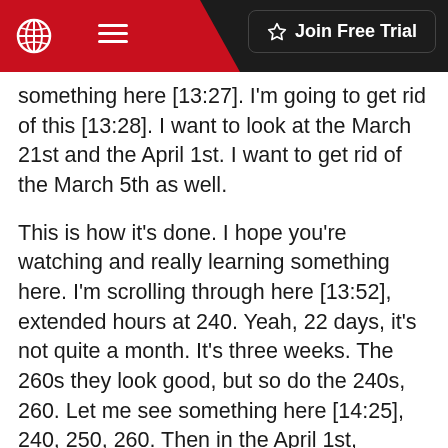Join Free Trial
something here [13:27]. I'm going to get rid of this [13:28]. I want to look at the March 21st and the April 1st. I want to get rid of the March 5th as well.
This is how it's done. I hope you're watching and really learning something here. I'm scrolling through here [13:52], extended hours at 240. Yeah, 22 days, it's not quite a month. It's three weeks. The 260s they look good, but so do the 240s, 260. Let me see something here [14:25], 240, 250, 260. Then in the April 1st, nothing. I like SQ for a day trade but also for a swing trade on the year-to-date on the daily time frame. It could dip a little lower.